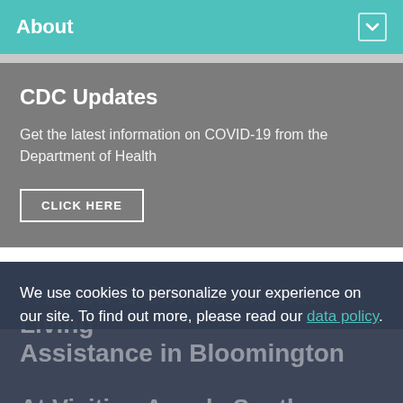About
CDC Updates
Get the latest information on COVID-19 from the Department of Health
CLICK HERE
Trusted & Compassionate Living Assistance in Bloomington
We use cookies to personalize your experience on our site. To find out more, please read our data policy.
At Visiting Angels South Central Indiana, Character Counts!
OK